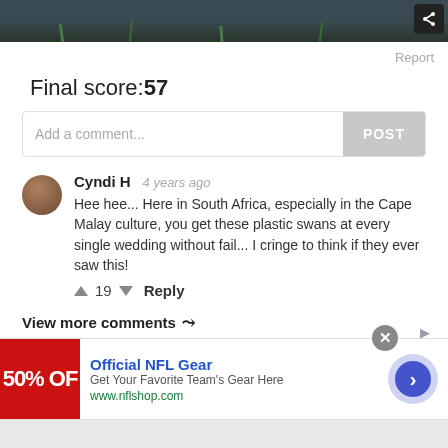[Figure (photo): Dark landscape/grass background image at top of page]
Report
Final score:57
Add a comment...
POST
Cyndi H  4 years ago
Hee hee... Here in South Africa, especially in the Cape Malay culture, you get these plastic swans at every single wedding without fail... I cringe to think if they ever saw this!
↑ 19 ↓  Reply
View more comments ∨
[Figure (screenshot): Ad banner: Official NFL Gear - Get Your Favorite Team's Gear Here - www.nflshop.com, with 50% OFF red banner image and navigation arrow button]